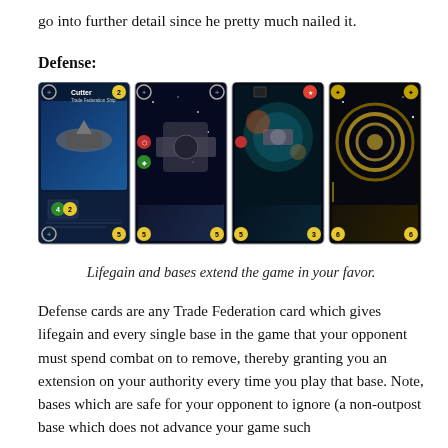go into further detail since he pretty much nailed it.
Defense:
[Figure (photo): Four Star Realms trading cards depicting Cutter, Defense Center, Battle Station, and Royal Redoubt, used to illustrate defense cards in the game.]
Lifegain and bases extend the game in your favor.
Defense cards are any Trade Federation card which gives lifegain and every single base in the game that your opponent must spend combat on to remove, thereby granting you an extension on your authority every time you play that base. Note, bases which are safe for your opponent to ignore (a non-outpost base which does not advance your game such